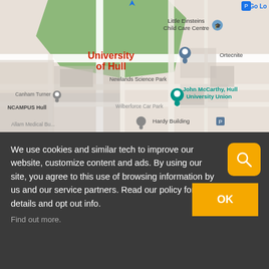[Figure (map): Google Maps screenshot showing University of Hull campus area, with labels: Little Einsteins Child Care Centre, University of Hull (in red), Newlands Science Park, Ortecnite, John McCarthy Hull University Union (teal marker), Canham Turner, NCAMPUS Hull, Wilberforce Car Park, Hardy Building, Allam Medical Building]
We use cookies and similar tech to improve our website, customize content and ads. By using our site, you agree to this use of browsing information by us and our service partners. Read our policy for details and opt out info.
Find out more.